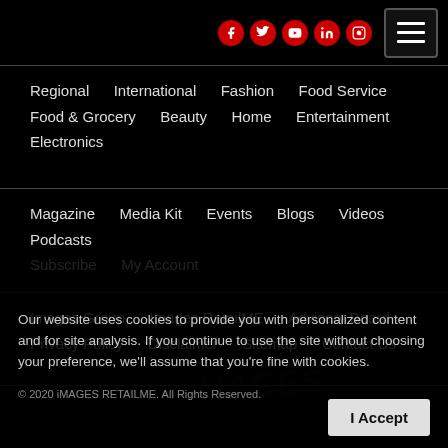[Figure (other): Social media icons (Facebook, Twitter, YouTube, LinkedIn, Instagram) in red circles, and a hamburger menu button]
Regional  International  Fashion  Food Service  Food & Grocery  Beauty  Home  Entertainment  Electronics
Magazine  Media Kit  Events  Blogs  Videos  Podcasts  Subscribe  My Account
Images Group  Images RetailME  Advisory Board  Privacy Policy  Disclaimer  Sitemap  Contact Us
Our website uses cookies to provide you with personalized content and for site analysis. If you continue to use the site without choosing your preference, we'll assume that you're fine with cookies.
© 2020 iMAGES RETAILME. All Rights Reserved.